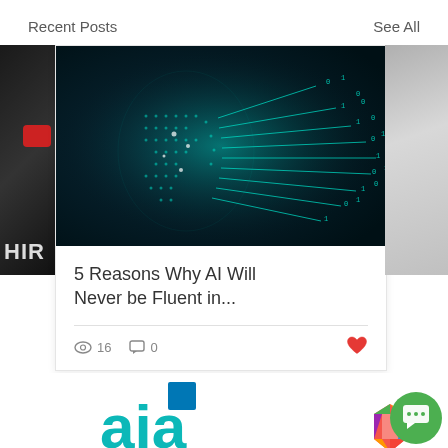Recent Posts
See All
[Figure (photo): AI digital face made of circuit board patterns with binary data streams, teal/blue on dark background]
5 Reasons Why AI Will Never be Fluent in...
16 views  0 comments  heart/like icon
[Figure (other): Pagination dots: one green active dot and two grey dots]
[Figure (logo): Partial logo at bottom of page with blue square and teal arc letters, colorful geometric icon, and green chat button]